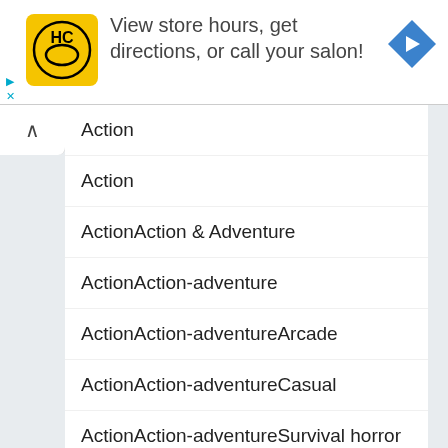[Figure (screenshot): Advertisement banner with HC (Hair Club) yellow logo, text 'View store hours, get directions, or call your salon!', and a blue navigation arrow icon on the right.]
Action
Action
ActionAction & Adventure
ActionAction-adventure
ActionAction-adventureArcade
ActionAction-adventureCasual
ActionAction-adventureSurvival horror